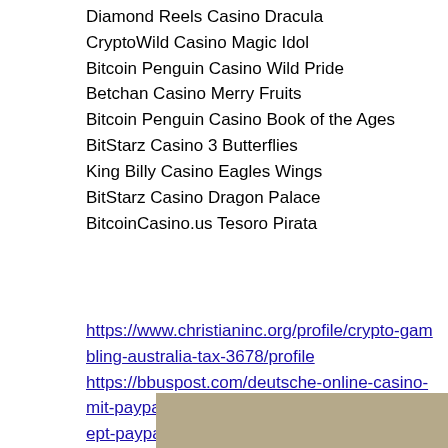Diamond Reels Casino Dracula
CryptoWild Casino Magic Idol
Bitcoin Penguin Casino Wild Pride
Betchan Casino Merry Fruits
Bitcoin Penguin Casino Book of the Ages
BitStarz Casino 3 Butterflies
King Billy Casino Eagles Wings
BitStarz Casino Dragon Palace
BitcoinCasino.us Tesoro Pirata
https://www.christianinc.org/profile/crypto-gambling-australia-tax-3678/profile https://bbuspost.com/deutsche-online-casino-mit-paypal-real-money-online-casinos-that-accept-paypal/ https://www.theonlinereadingtutor.com/profile/st-kitts-and-nevis-casino-6753/profile https://www.iapll.com/profile/best-slot-machines-at-foxwoods-687/profile
[Figure (other): Tan/beige colored bar at the bottom of the page]